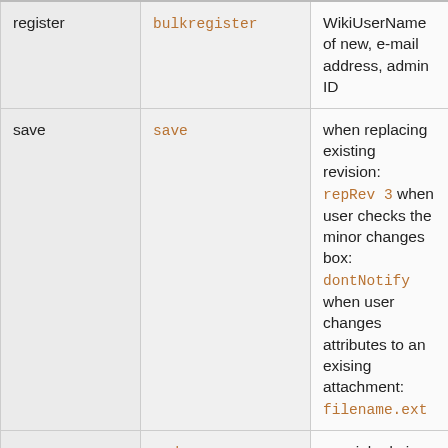| register | bulkregister | WikiUserName of new, e-mail address, admin ID |
| save | save | when replacing existing revision: repRev 3 when user checks the minor changes box: dontNotify when user changes attributes to an exising attachment: filename.ext |
| save | cmd | special admin parameter used when saving |
| search | search | search string |
| upload | upload | filename |
| view | view | when viewing non-existing topic: (not |